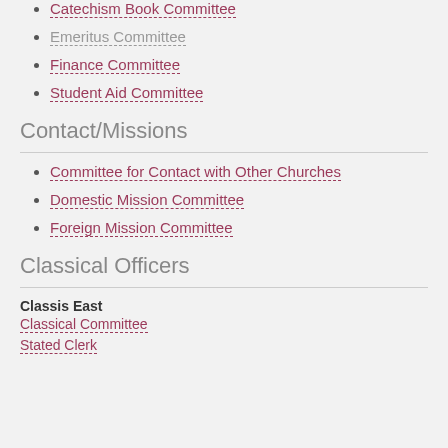Catechism Book Committee
Emeritus Committee
Finance Committee
Student Aid Committee
Contact/Missions
Committee for Contact with Other Churches
Domestic Mission Committee
Foreign Mission Committee
Classical Officers
Classis East
Classical Committee
Stated Clerk